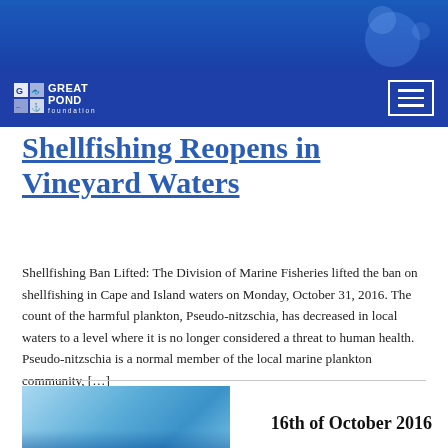[Figure (logo): Great Pond Foundation logo with navigation hamburger menu on blue header background]
Shellfishing Reopens in Vineyard Waters
Shellfishing Ban Lifted: The Division of Marine Fisheries lifted the ban on shellfishing in Cape and Island waters on Monday, October 31, 2016. The count of the harmful plankton, Pseudo-nitzschia, has decreased in local waters to a level where it is no longer considered a threat to human health. Pseudo-nitzschia is a normal member of the local marine plankton community, [...]
[Figure (photo): Thumbnail image of water/marine scene]
16th of October 2016